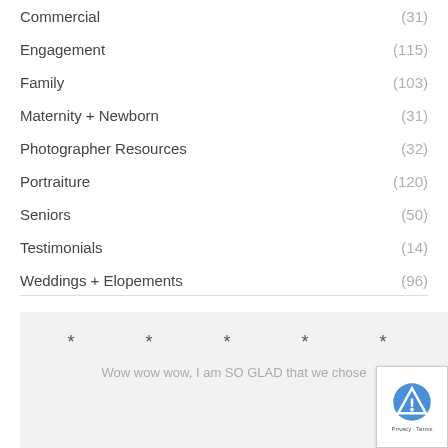Commercial (31)
Engagement (115)
Family (103)
Maternity + Newborn (31)
Photographer Resources (32)
Portraiture (120)
Seniors (50)
Testimonials (14)
Weddings + Elopements (96)
* * * * *
Wow wow wow, I am SO GLAD that we chose